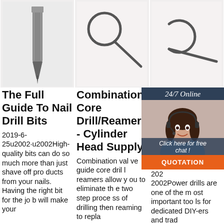[Figure (photo): Close-up photo of a nail drill bit tip against white background]
[Figure (photo): Photo of a combination core drill reamer tool with circular loop end against light background]
[Figure (photo): Photo of a similar reamer/pick tool against light background]
The Full Guide To Nail Drill Bits
2019-6-25u2002·u2002High-quality bits can do so much more than just shave off products from your nails. Having the right bit for the job will make your
Combination Core Drill/Reamers - Cylinder Head Supply
Combination valve guide core drill reamers allow you to eliminate the two step process of drilling then reaming to repla
Types of Drill Bits: What to Use, When to Use It
2020u2002·u20002002Power drills are one of the most important tools for dedicated DIY-ers and trad
[Figure (infographic): 24/7 Online customer chat widget with woman wearing headset, 'Click here for free chat!' text, and orange QUOTATION button]